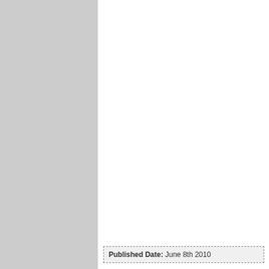[Figure (other): Gray sidebar column on the left side of the page]
Published Date: June 8th 2010